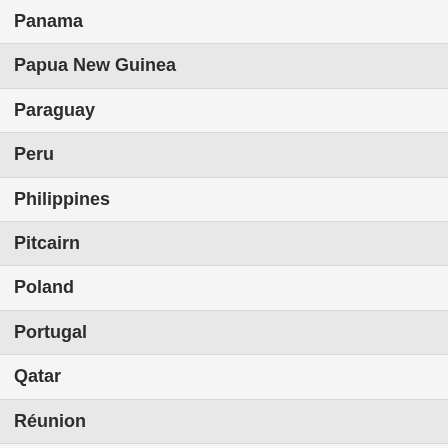Panama
Papua New Guinea
Paraguay
Peru
Philippines
Pitcairn
Poland
Portugal
Qatar
Réunion
Romania
Rw...
Russia